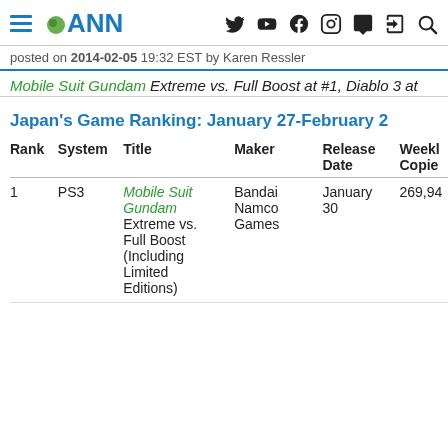ANN - Anime News Network
posted on 2014-02-05 19:32 EST by Karen Ressler
Mobile Suit Gundam Extreme vs. Full Boost at #1, Diablo 3 at
Japan's Game Ranking: January 27-February 2
| Rank | System | Title | Maker | Release Date | Weekly Copies |
| --- | --- | --- | --- | --- | --- |
| 1 | PS3 | Mobile Suit Gundam Extreme vs. Full Boost (Including Limited Editions) | Bandai Namco Games | January 30 | 269,94... |